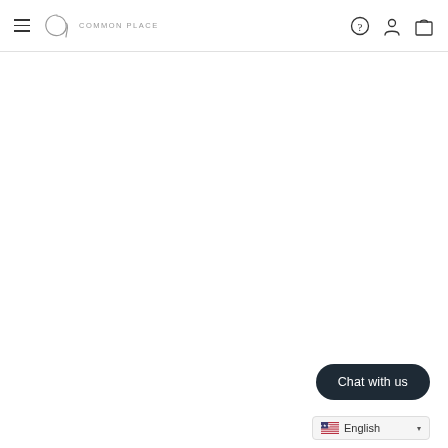Common Place — navigation header with hamburger menu, logo, help, account, and cart icons
[Figure (screenshot): Blank white main content area of the Common Place website]
Chat with us
English